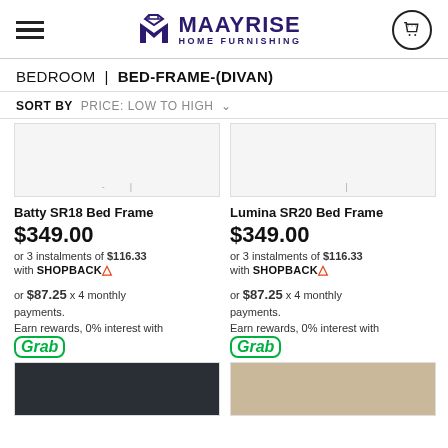MAAYRISE HOME FURNISHING
BEDROOM | BED-FRAME-(DIVAN)
SORT BY   PRICE: LOW TO HIGH
Batty SR18 Bed Frame
$349.00
or 3 instalments of $116.33 with SHOPBACK
or $87.25 x 4 monthly payments.
Earn rewards, 0% interest with Grab
Lumina SR20 Bed Frame
$349.00
or 3 instalments of $116.33 with SHOPBACK
or $87.25 x 4 monthly payments.
Earn rewards, 0% interest with Grab